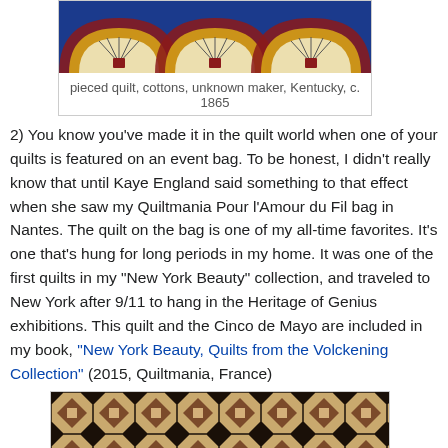[Figure (photo): Partial view of a pieced quilt with red, gold/cream, and blue semicircular fan/arc patterns on a navy blue background, cottons, unknown maker, Kentucky, c. 1865]
pieced quilt, cottons, unknown maker, Kentucky, c. 1865
2) You know you've made it in the quilt world when one of your quilts is featured on an event bag. To be honest, I didn't really know that until Kaye England said something to that effect when she saw my Quiltmania Pour l'Amour du Fil bag in Nantes. The quilt on the bag is one of my all-time favorites. It's one that's hung for long periods in my home. It was one of the first quilts in my "New York Beauty" collection, and traveled to New York after 9/11 to hang in the Heritage of Genius exhibitions. This quilt and the Cinco de Mayo are included in my book, "New York Beauty, Quilts from the Volckening Collection" (2015, Quiltmania, France)
[Figure (photo): Geometric patchwork quilt with a repeating pattern of squares, diamonds, and octagonal shapes in brown, tan/beige, and dark brown/black tones]